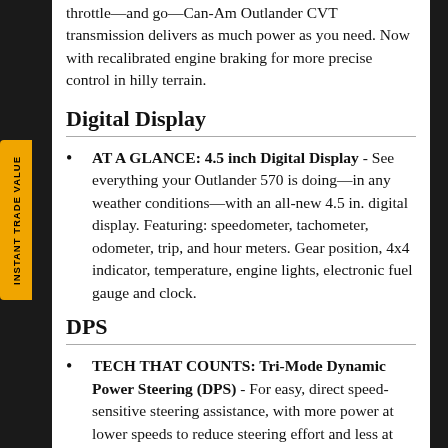throttle—and go—Can-Am Outlander CVT transmission delivers as much power as you need. Now with recalibrated engine braking for more precise control in hilly terrain.
Digital Display
AT A GLANCE: 4.5 inch Digital Display - See everything your Outlander 570 is doing—in any weather conditions—with an all-new 4.5 in. digital display. Featuring: speedometer, tachometer, odometer, trip, and hour meters. Gear position, 4x4 indicator, temperature, engine lights, electronic fuel gauge and clock.
DPS
TECH THAT COUNTS: Tri-Mode Dynamic Power Steering (DPS) - For easy, direct speed-sensitive steering assistance, with more power at lower speeds to reduce steering effort and less at higher speeds for maximum steering feel to the rider. Three modes adapt DPS even more.